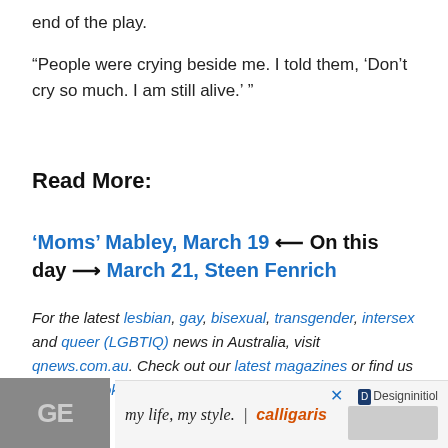end of the play.
“People were crying beside me. I told them, ‘Don’t cry so much. I am still alive.’ ”
Read More:
‘Moms’ Mabley, March 19 ⟵ On this day ⟶ March 21, Steen Fenrich
For the latest lesbian, gay, bisexual, transgender, intersex and queer (LGBTIQ) news in Australia, visit qnews.com.au. Check out our latest magazines or find us on Facebook, Twitter, Instagram and YouTube.
[Figure (other): Advertisement banner: 'my life, my style. | calligaris' with Designinitiol logo and a thumbnail image with 'GE' text]